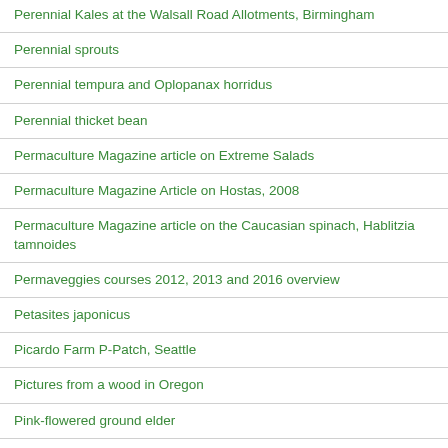Perennial Kales at the Walsall Road Allotments, Birmingham
Perennial sprouts
Perennial tempura and Oplopanax horridus
Perennial thicket bean
Permaculture Magazine article on Extreme Salads
Permaculture Magazine Article on Hostas, 2008
Permaculture Magazine article on the Caucasian spinach, Hablitzia tamnoides
Permaveggies courses 2012, 2013 and 2016 overview
Petasites japonicus
Picardo Farm P-Patch, Seattle
Pictures from a wood in Oregon
Pink-flowered ground elder
Plantdrikker Årbok 2015 (Norwegian Seed Savers Yearbook) f...